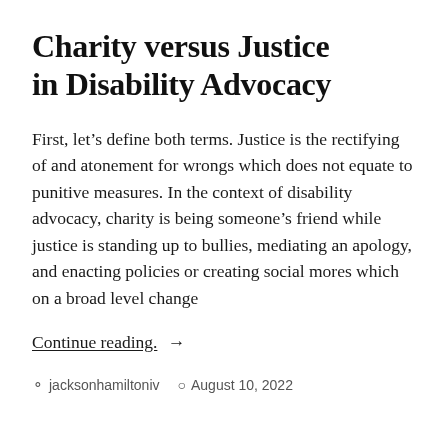Charity versus Justice in Disability Advocacy
First, let’s define both terms. Justice is the rectifying of and atonement for wrongs which does not equate to punitive measures. In the context of disability advocacy, charity is being someone’s friend while justice is standing up to bullies, mediating an apology, and enacting policies or creating social mores which on a broad level change
Continue reading. →
jacksonhamiltoniv   August 10, 2022